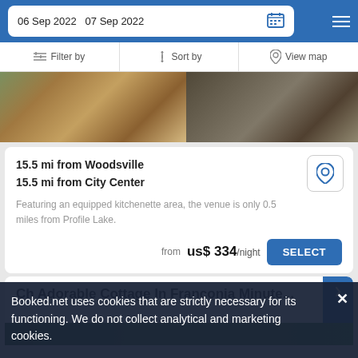06 Sep 2022   07 Sep 2022
Filter by   Sort by   View map
[Figure (photo): Interior photo of a room with hardwood floors, a rug, and a large dark sofa or sectional couch]
15.5 mi from Woodsville
15.5 mi from City Center
Featuring an equipped kitchenette area, the venue is only 0.5 miles from Profile Lake.
from us$ 334/night
SELECT
Ch Adorable Cottage In Franconia Minute...
Booked.net uses cookies that are strictly necessary for its functioning. We do not collect analytical and marketing cookies.